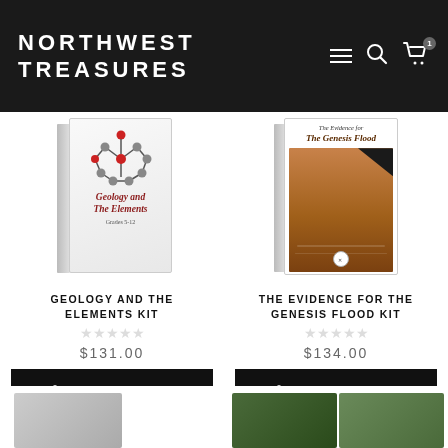NORTHWEST TREASURES
[Figure (photo): Product photo of Geology and The Elements Kit book mockup]
GEOLOGY AND THE ELEMENTS KIT
☆☆☆☆☆
$131.00
ADD TO CART
[Figure (photo): Product photo of The Evidence for The Genesis Flood Kit book mockup]
THE EVIDENCE FOR THE GENESIS FLOOD KIT
☆☆☆☆☆
$134.00
ADD TO CART